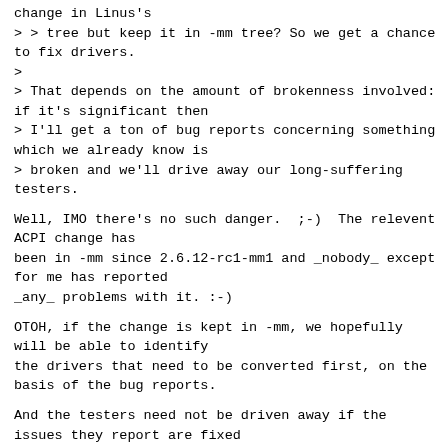change in Linus's
> > tree but keep it in -mm tree? So we get a chance to fix drivers.
>
> That depends on the amount of brokenness involved: if it's significant then
> I'll get a ton of bug reports concerning something which we already know is
> broken and we'll drive away our long-suffering testers.
Well, IMO there's no such danger.  ;-)  The relevent ACPI change has
been in -mm since 2.6.12-rc1-mm1 and _nobody_ except for me has reported
_any_ problems with it. :-)
OTOH, if the change is kept in -mm, we hopefully will be able to identify
the drivers that need to be converted first, on the basis of the bug reports.
And the testers need not be driven away if the issues they report are fixed
in a timely manner, which is quite simple in this particuar case, because we
know what's potentially broken, we know how to fix it, and the fix is quite not
that complicated.